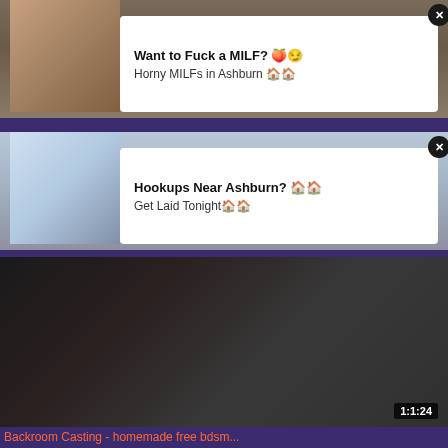[Figure (photo): Adult advertisement banner 1 with thumbnail image and white popup box. Close button (x) in top right.]
Want to Fuck a MILF? 🍑😏
Horny MILFs in Ashburn 🏠🏠
[Figure (photo): Adult advertisement banner 2 with thumbnail image and white popup box. Close button (x) in top right.]
Hookups Near Ashburn? 🏠🏠
Get Laid Tonight🏠🏠
[Figure (photo): Adult video thumbnail showing explicit content, duration 1:1:24 shown in bottom right corner.]
Backroom Casting - homemade free bdsm...